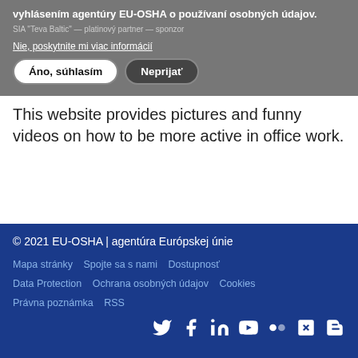vyhlásením agentúry EU-OSHA o používaní osobných údajov.
SIA "Teva Baltic" — platinový partner — sponzor
Nie, poskytnite mi viac informácií
Áno, súhlasím
Neprijať
This website provides pictures and funny videos on how to be more active in office work.
Pozri viac →
© 2021 EU-OSHA | agentúra Európskej únie
Mapa stránky   Spojte sa s nami   Dostupnosť
Data Protection   Ochrana osobných údajov   Cookies
Právna poznámka   RSS